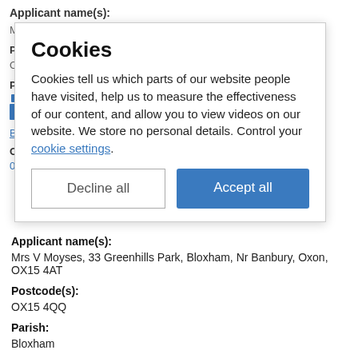Applicant name(s):
Mr C Blomfield
Postcode(s):
OX25 6NN
Parish:
Fritwell, Somerton, Upper Heyford
Bloxham Footpath No. 21 Modification Order 2019
Our reference:
03361
[Figure (screenshot): Cookie consent modal dialog with title 'Cookies', explanatory text about cookie usage, a 'Decline all' button and an 'Accept all' button.]
Applicant name(s):
Mrs V Moyses, 33 Greenhills Park, Bloxham, Nr Banbury, Oxon, OX15 4AT
Postcode(s):
OX15 4QQ
Parish:
Bloxham